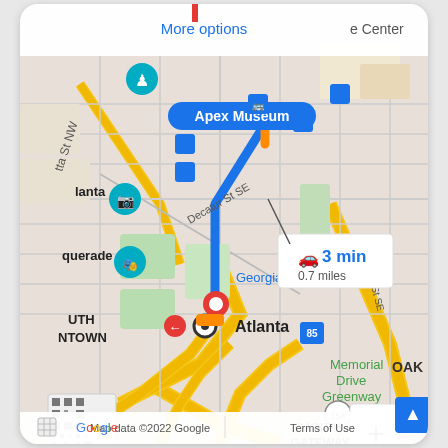[Figure (map): Google Maps screenshot showing a driving route from Atlanta to Apex Museum in Atlanta, GA. The route is shown as a blue line with orange highlights going north along a street. A popup shows 3 min drive, 0.7 miles. Map shows landmarks including Georgia State, Decatur St SE, Memorial Drive Greenway (154), Capital Gateway, OAK area, Pratt St SE. Zoom controls (+/-) visible. Google logo and 'Map data ©2022 Google' and 'Terms of Use' shown at bottom. QR code in bottom left. 'More options' link at top. Blue scroll-to-top button bottom right.]